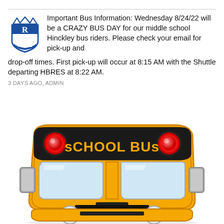Important Bus Information: Wednesday 8/24/22 will be a CRAZY BUS DAY for our middle school Hinckley bus riders. Please check your email for pick-up and drop-off times. First pick-up will occur at 8:15 AM with the Shuttle departing HBRES at 8:22 AM.
3 DAYS AGO, ADMIN
[Figure (illustration): Cartoon front view of a yellow school bus with 'SCHOOL BUS' text on a black banner across the top, red round headlights on either side, two large windshield panels, side mirrors, and two circular fog lights at the bottom.]